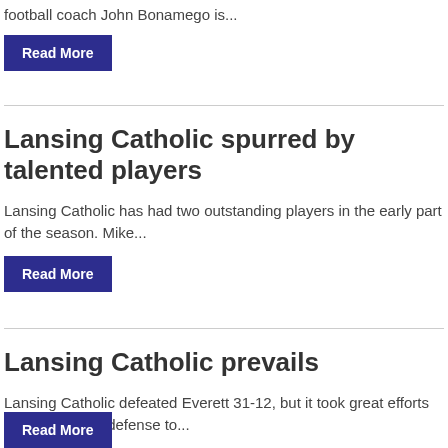football coach John Bonamego is...
Read More
Lansing Catholic spurred by talented players
Lansing Catholic has had two outstanding players in the early part of the season. Mike...
Read More
Lansing Catholic prevails
Lansing Catholic defeated Everett 31-12, but it took great efforts on offense and defense to...
Read More